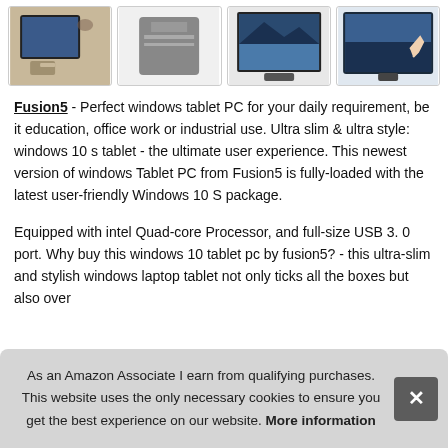[Figure (photo): Row of four product thumbnail images: tablet on table, external drive/device, digital photo frame with landscape, touchscreen monitor with hand]
Fusion5 - Perfect windows tablet PC for your daily requirement, be it education, office work or industrial use. Ultra slim & ultra style: windows 10 s tablet - the ultimate user experience. This newest version of windows Tablet PC from Fusion5 is fully-loaded with the latest user-friendly Windows 10 S package.
Equipped with intel Quad-core Processor, and full-size USB 3. 0 port. Why buy this windows 10 tablet pc by fusion5? - this ultra-slim and stylish windows laptop tablet not only ticks all the [obscured] over [obscured]
As an Amazon Associate I earn from qualifying purchases. This website uses the only necessary cookies to ensure you get the best experience on our website. More information